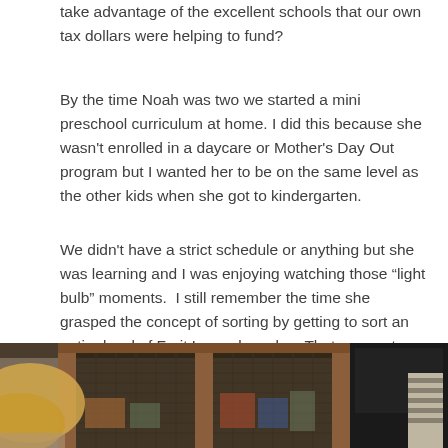take advantage of the excellent schools that our own tax dollars were helping to fund?
By the time Noah was two we started a mini preschool curriculum at home. I did this because she wasn't enrolled in a daycare or Mother's Day Out program but I wanted her to be on the same level as the other kids when she got to kindergarten.
We didn't have a strict schedule or anything but she was learning and I was enjoying watching those “light bulb” moments.  I still remember the time she grasped the concept of sorting by getting to sort an entire bowl of Fruit Loops by color.  That moment alone may have been the turning point for me.
[Figure (photo): A young child with blonde hair looking into a wooden cabinet or entertainment center with mesh/lattice doors, with electronics visible to the right.]